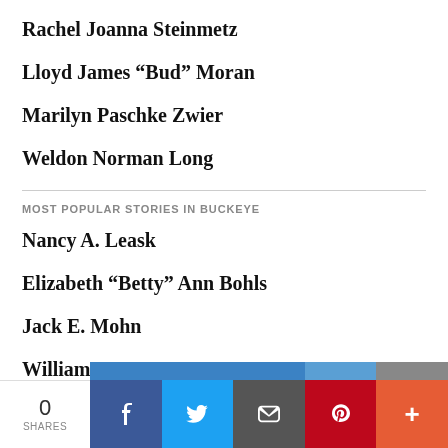Rachel Joanna Steinmetz
Lloyd James “Bud” Moran
Marilyn Paschke Zwier
Weldon Norman Long
MOST POPULAR STORIES IN BUCKEYE
Nancy A. Leask
Elizabeth “Betty” Ann Bohls
Jack E. Mohn
William L. Ewers
0 SHARES | Facebook | Twitter | Email | Pinterest | More